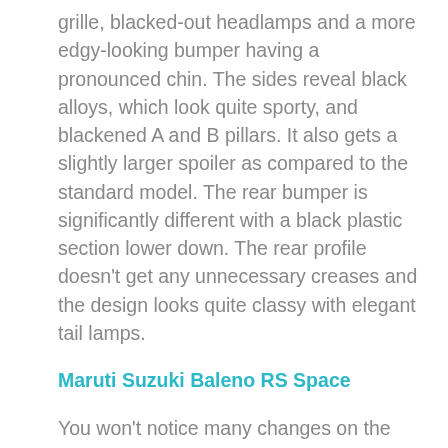grille, blacked-out headlamps and a more edgy-looking bumper having a pronounced chin. The sides reveal black alloys, which look quite sporty, and blackened A and B pillars. It also gets a slightly larger spoiler as compared to the standard model. The rear bumper is significantly different with a black plastic section lower down. The rear profile doesn't get any unnecessary creases and the design looks quite classy with elegant tail lamps.
Maruti Suzuki Baleno RS Space
You won't notice many changes on the inside as the interiors are identical. The all black theme of the dashboard and upholstery continues. The instrument cluster is carried over having a TFT display that comes with torque and power graphics, fuel economy details, time, outside temperature, driving time, etc. The Smartplay touchscreen infotainment